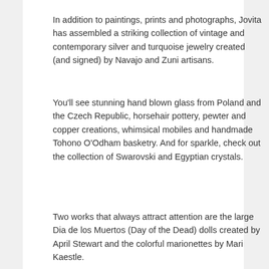In addition to paintings, prints and photographs, Jovita has assembled a striking collection of vintage and contemporary silver and turquoise jewelry created (and signed) by Navajo and Zuni artisans.
You'll see stunning hand blown glass from Poland and the Czech Republic, horsehair pottery, pewter and copper creations, whimsical mobiles and handmade Tohono O’Odham basketry. And for sparkle, check out the collection of Swarovski and Egyptian crystals.
Two works that always attract attention are the large Dia de los Muertos (Day of the Dead) dolls created by April Stewart and the colorful marionettes by Mari Kaestle.
An artist herself, Jovita brings a sense of color and design to everything in her shop. Although many art stores are located in The Gallery, you’ll find something here...